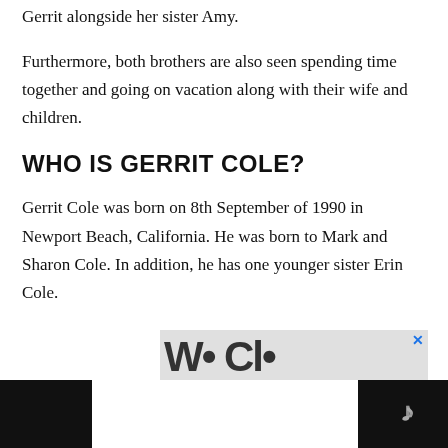Gerrit alongside her sister Amy.
Furthermore, both brothers are also seen spending time together and going on vacation along with their wife and children.
WHO IS GERRIT COLE?
Gerrit Cole was born on 8th September of 1990 in Newport Beach, California. He was born to Mark and Sharon Cole. In addition, he has one younger sister Erin Cole.
[Figure (other): Advertisement banner showing decorative text and a LOVE logo badge, with a close button (x). Bottom black bar with Tidal logo.]